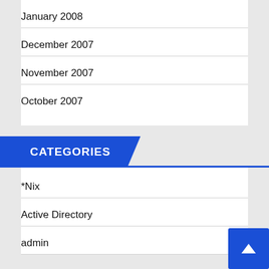January 2008
December 2007
November 2007
October 2007
CATEGORIES
*Nix
Active Directory
admin